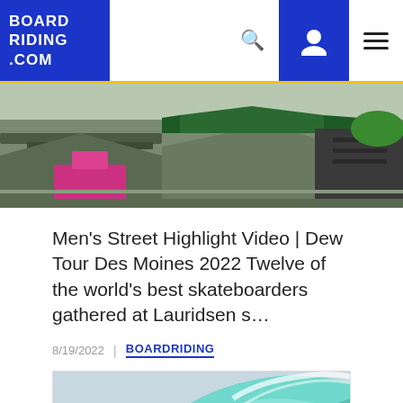BOARDRIDING.COM
[Figure (photo): Skatepark with ramps and metal structures, partial view from above, colorful elements visible]
Men's Street Highlight Video | Dew Tour Des Moines 2022 Twelve of the world's best skateboarders gathered at Lauridsen s…
8/19/2022  |  BOARDRIDING
[Figure (photo): Surfer riding inside a large turquoise barrel wave, with a scroll-to-top button overlay]